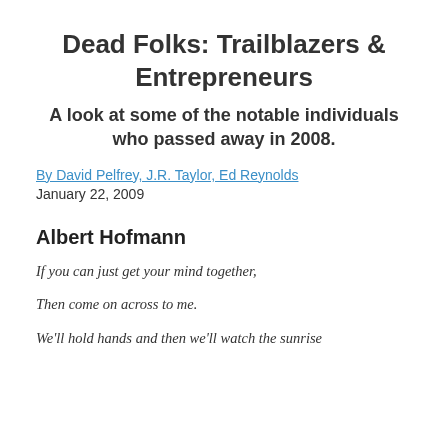Dead Folks: Trailblazers & Entrepreneurs
A look at some of the notable individuals who passed away in 2008.
By David Pelfrey, J.R. Taylor, Ed Reynolds
January 22, 2009
Albert Hofmann
If you can just get your mind together,
Then come on across to me.
We'll hold hands and then we'll watch the sunrise